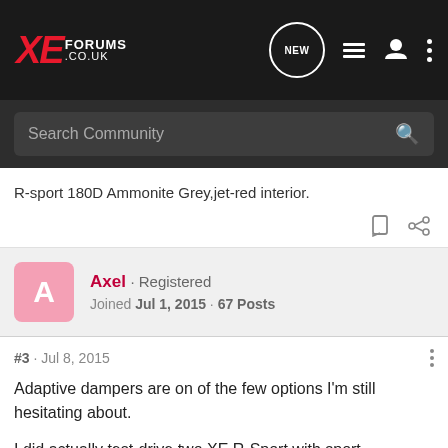XE FORUMS .CO.UK
R-sport 180D Ammonite Grey,jet-red interior.
Axel · Registered
Joined Jul 1, 2015 · 67 Posts
#3 · Jul 8, 2015
Adaptive dampers are on of the few options I'm still hesitating about.
I did actually test-drive two XE R-Sport with sport suspensions (passive) and 19" rims though, and I can say that it is a firm ride, but still very comfortable even on damaged roads. The